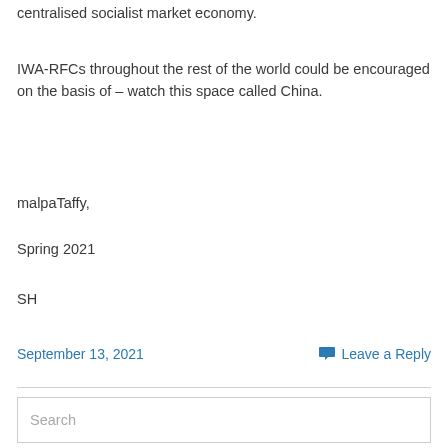centralised socialist market economy.
IWA-RFCs throughout the rest of the world could be encouraged on the basis of – watch this space called China.
malpaTaffy,
Spring 2021
SH
September 13, 2021    💬 Leave a Reply
Search